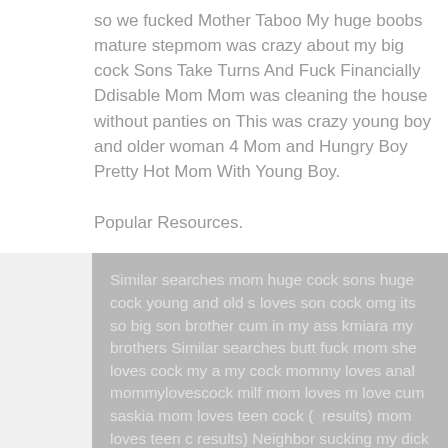so we fucked Mother Taboo My huge boobs mature stepmom was crazy about my big cock Sons Take Turns And Fuck Financially Ddisable Mom Mom was cleaning the house without panties on This was crazy young boy and older woman 4 Mom and Hungry Boy Pretty Hot Mom With Young Boy.
Popular Resources.
Similar searches mom huge cock sons huge cock young and old s loves son cock omg its so big son brother cum in my ass kmiara my brothers Similar searches butt fuck mom she loves cock my a my cock mommy loves anal mommylovescock milf mom loves m love cum saskia mom loves teen cock ( results) mom loves teen c results) Neighbor sucking my dick while husband s. next door. Sh fuck of
Robinson old mom and young boy Some more mature ladies Cuddling With Mom Milf in Kitchen FantasyMassage MILF India Summer Massages Her Younger Crush mature hiary fuck to sun Grandmother not bad - 1 Younger and mature